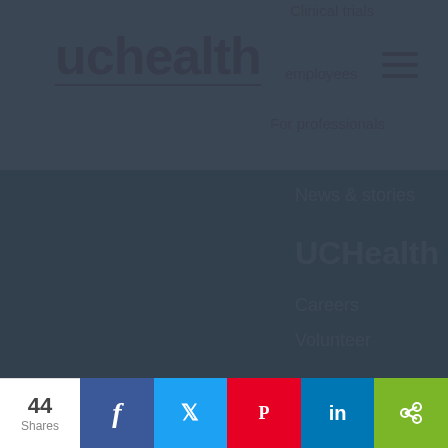[Figure (logo): UCHealth logo in dark red/maroon with underline]
Clinical trials
employees
For professionals
News & stories
UCHealth
Careers
Volunteer
We use cookies to make interactions with our website easy and meaningful. By continuing to use this site you are giving us your consent. Learn how cookies are used on our site.
Accept terms
44 Shares